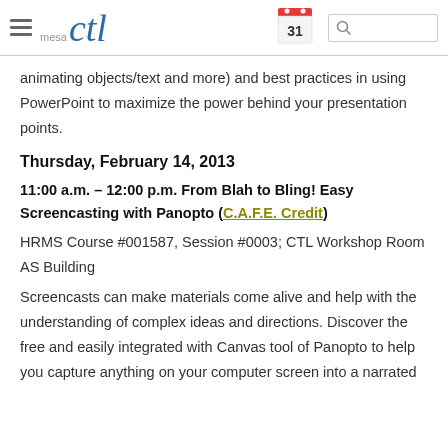mesa ctl [logo with hamburger menu, calendar icon showing 31, and search box]
animating objects/text and more) and best practices in using PowerPoint to maximize the power behind your presentation points.
Thursday, February 14, 2013
11:00 a.m. – 12:00 p.m. From Blah to Bling! Easy Screencasting with Panopto (C.A.F.E. Credit)
HRMS Course #001587, Session #0003; CTL Workshop Room AS Building
Screencasts can make materials come alive and help with the understanding of complex ideas and directions. Discover the free and easily integrated with Canvas tool of Panopto to help you capture anything on your computer screen into a narrated